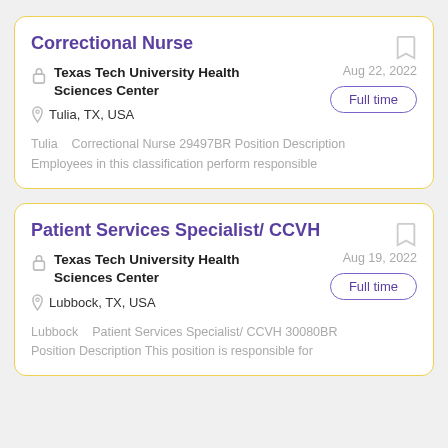Correctional Nurse
Texas Tech University Health Sciences Center
Tulia, TX, USA
Aug 22, 2022
Full time
Tulia   Correctional Nurse 29497BR Position Description Employees in this classification perform responsible
Patient Services Specialist/ CCVH
Texas Tech University Health Sciences Center
Lubbock, TX, USA
Aug 19, 2022
Full time
Lubbock   Patient Services Specialist/ CCVH 30080BR Position Description This position is responsible for